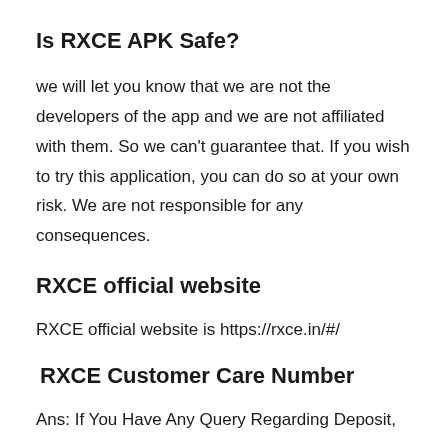Is RXCE APK Safe?
we will let you know that we are not the developers of the app and we are not affiliated with them. So we can’t guarantee that. If you wish to try this application, you can do so at your own risk. We are not responsible for any consequences.
RXCE official website
RXCE official website is https://rxce.in/#/
RXCE Customer Care Number
Ans: If You Have Any Query Regarding Deposit,